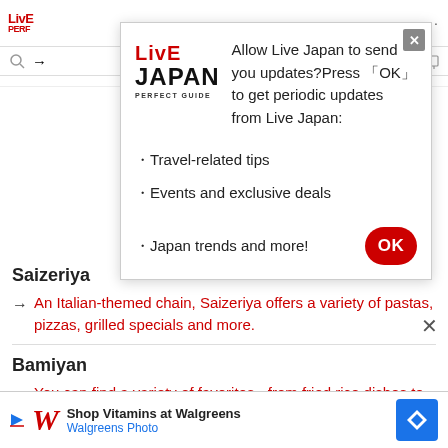[Figure (screenshot): Live Japan website header with logo, navigation icons, and three dots menu]
[Figure (screenshot): Modal popup from Live Japan asking to send notifications. Contains Live Japan logo (LIVE JAPAN PERFECT GUIDE), text 'Allow Live Japan to send you updates? Press OK to get periodic updates from Live Japan:', list items: Travel-related tips, Events and exclusive deals, Japan trends and more!, and an OK button. Has an X close button.]
Saizeriya
An Italian-themed chain, Saizeriya offers a variety of pastas, pizzas, grilled specials and more.
Bamiyan
You can find a variety of favorites - from fried rice dishes to dumplings - at this Chinese-style restaurant chain.
[Figure (screenshot): Walgreens advertisement banner at bottom: Shop Vitamins at Walgreens, Walgreens Photo]